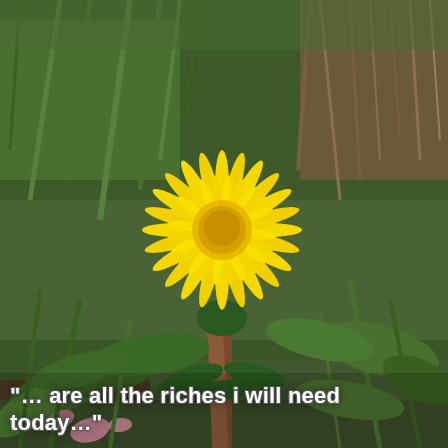[Figure (photo): Close-up photograph of a bright yellow dandelion flower in full bloom, with its stem visible below. The background shows green grass, leaves, and ground vegetation in a natural outdoor setting with sunlight.]
“… are all the riches i will need today…”